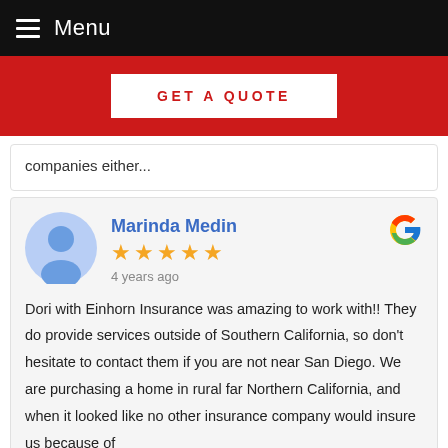Menu
[Figure (other): GET A QUOTE button on red banner background]
companies either...
Marinda Medin
★★★★★
4 years ago

Dori with Einhorn Insurance was amazing to work with!! They do provide services outside of Southern California, so don't hesitate to contact them if you are not near San Diego. We are purchasing a home in rural far Northern California, and when it looked like no other insurance company would insure us because of